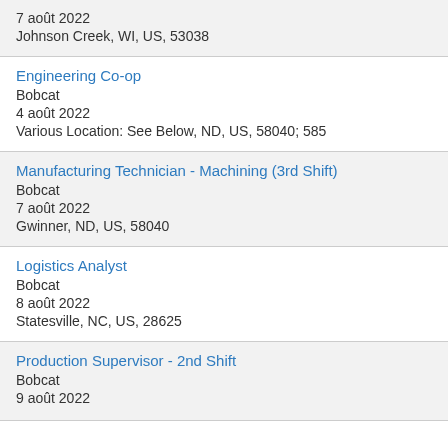7 août 2022
Johnson Creek, WI, US, 53038
Engineering Co-op
Bobcat
4 août 2022
Various Location: See Below, ND, US, 58040; 585
Manufacturing Technician - Machining (3rd Shift)
Bobcat
7 août 2022
Gwinner, ND, US, 58040
Logistics Analyst
Bobcat
8 août 2022
Statesville, NC, US, 28625
Production Supervisor - 2nd Shift
Bobcat
9 août 2022